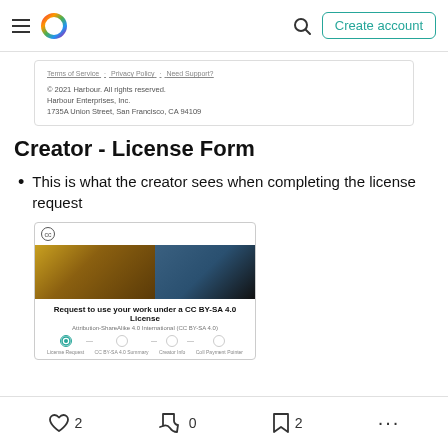Harbour — Create account
[Figure (screenshot): Footer card showing Terms of Service, Privacy Policy, Need Support? links and © 2021 Harbour copyright info with Harbour Enterprises, Inc. address]
Creator - License Form
This is what the creator sees when completing the license request
[Figure (screenshot): Screenshot of a license request form showing CC icon, an image banner, 'Request to use your work under a CC BY-SA 4.0 License', 'Attribution-ShareAlike 4.0 International (CC BY-SA 4.0)', and a progress bar with steps: License Request, CC BY-SA 4.0 Summary, Creator Info, Coil Payment Pointer]
2  0  2  ...